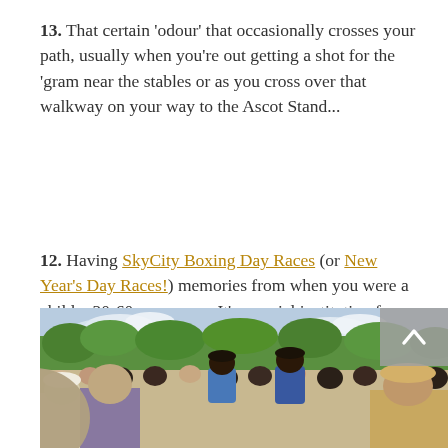13. That certain 'odour' that occasionally crosses your path, usually when you're out getting a shot for the 'gram near the stables or as you cross over that walkway on your way to the Ascot Stand...
12. Having SkyCity Boxing Day Races (or New Year's Day Races!) memories from when you were a child... 20-60 years ago.  It's a social institution for a reason
[Figure (photo): Crowd of people at a horse racing event, viewed from behind, children sitting on adults' shoulders, wearing hats and summer clothing, green trees and blue sky in background]